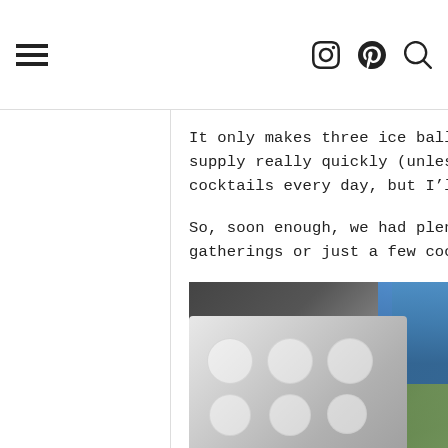[navigation bar with hamburger menu, Instagram, Pinterest, and Search icons]
It only makes three ice balls per day, but it builds up a supply really quickly (unless, of course, you’re drinking three cocktails every day, but I’ll assume you aren’t).
So, soon enough, we had plenty of balls of ice to prepare for gatherings or just a few cocktails on a Friday night.
[Figure (photo): Photo of an ice ball mold/tray with circular indentations, partially showing a blue and green package or box in the background]